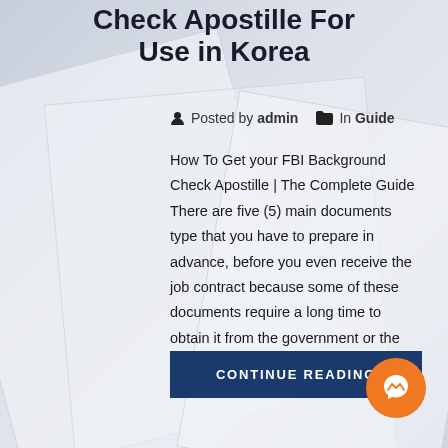Check Apostille For Use in Korea
Posted by admin  In Guide
How To Get your FBI Background Check Apostille | The Complete Guide There are five (5) main documents type that you have to prepare in advance, before you even receive the job contract because some of these documents require a long time to obtain it from the government or the private institution and even took a [...]
CONTINUE READING